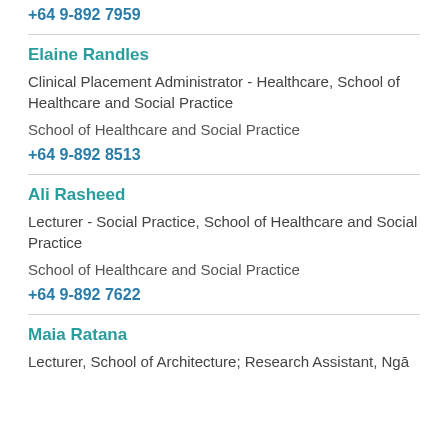+64 9-892 7959
Elaine Randles
Clinical Placement Administrator - Healthcare, School of Healthcare and Social Practice
School of Healthcare and Social Practice
+64 9-892 8513
Ali Rasheed
Lecturer - Social Practice, School of Healthcare and Social Practice
School of Healthcare and Social Practice
+64 9-892 7622
Maia Ratana
Lecturer, School of Architecture; Research Assistant, Ngā